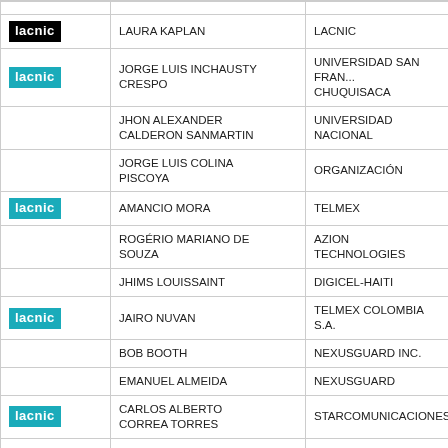|  | Name | Organization |
| --- | --- | --- |
| lacnic (black) | LAURA KAPLAN | LACNIC |
| lacnic (teal) | JORGE LUIS INCHAUSTY CRESPO | UNIVERSIDAD SAN FRANCISCO CHUQUISACA |
|  | JHON ALEXANDER CALDERON SANMARTIN | UNIVERSIDAD NACIONAL |
|  | JORGE LUIS COLINA PISCOYA | ORGANIZACIÓN |
| lacnic (teal) | AMANCIO MORA | TELMEX |
|  | ROGÉRIO MARIANO DE SOUZA | AZION TECHNOLOGIES |
|  | JHIMS LOUISSAINT | DIGICEL-HAITI |
| lacnic (teal) | JAIRO NUVAN | TELMEX COLOMBIA S.A. |
|  | BOB BOOTH | NEXUSGUARD INC. |
|  | EMANUEL ALMEIDA | NEXUSGUARD |
| lacnic (teal) | CARLOS ALBERTO CORREA TORRES | STARCOMUNICACIONES |
| lacnic (teal) | JULIO CESAR AGUDELO RAMIREZ | STAR COMUNICACIONES |